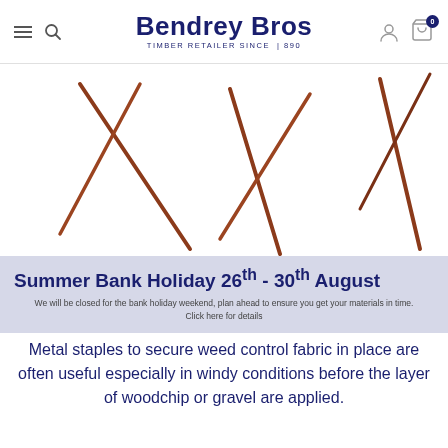Bendrey Bros — TIMBER RETAILER SINCE 1890
[Figure (photo): Close-up of brown metal wire staples/pins on a white background, used to secure weed control fabric]
Summer Bank Holiday 26th - 30th August — We will be closed for the bank holiday weekend, plan ahead to ensure you get your materials in time. Click here for details
Metal staples to secure weed control fabric in place are often useful especially in windy conditions before the layer of woodchip or gravel are applied.